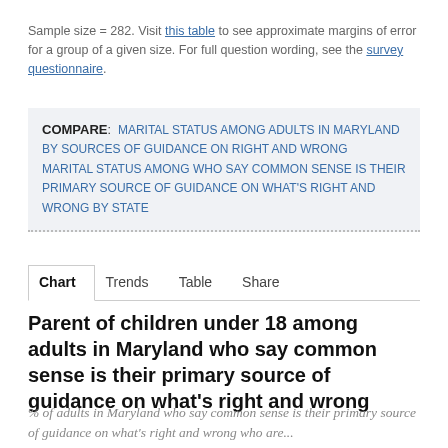Sample size = 282. Visit this table to see approximate margins of error for a group of a given size. For full question wording, see the survey questionnaire.
COMPARE: MARITAL STATUS AMONG ADULTS IN MARYLAND BY SOURCES OF GUIDANCE ON RIGHT AND WRONG   MARITAL STATUS AMONG WHO SAY COMMON SENSE IS THEIR PRIMARY SOURCE OF GUIDANCE ON WHAT'S RIGHT AND WRONG BY STATE
Chart   Trends   Table   Share
Parent of children under 18 among adults in Maryland who say common sense is their primary source of guidance on what's right and wrong
% of adults in Maryland who say common sense is their primary source of guidance on what's right and wrong who are...